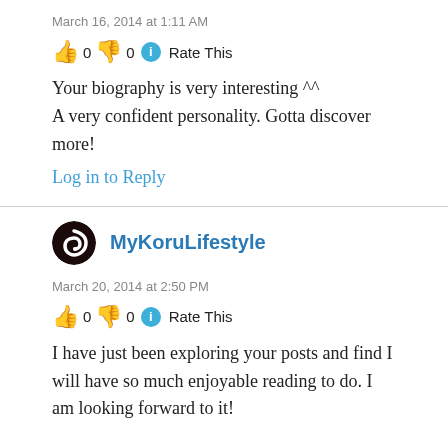March 16, 2014 at 1:11 AM
👍 0 👎 0 ℹ Rate This
Your biography is very interesting ^^
A very confident personality. Gotta discover more!
Log in to Reply
MyKoruLifestyle
March 20, 2014 at 2:50 PM
👍 0 👎 0 ℹ Rate This
I have just been exploring your posts and find I will have so much enjoyable reading to do. I am looking forward to it!